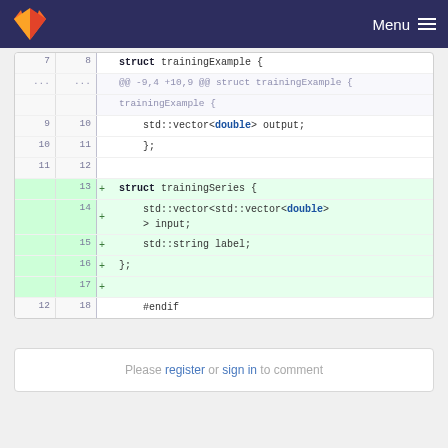Menu
[Figure (screenshot): GitLab diff view showing addition of trainingSeries struct with std::vector<std::vector<double>> input, std::string label fields]
Please register or sign in to comment